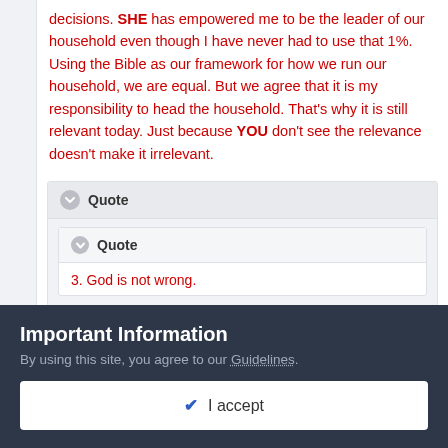decisions. SHE has empowered me to be the leader of our household even though I have never had to use that 1%. Using the Bible as our framework for how we run our household, we are equal. But we agree that it is my responsibility to head the household. That's why it is still relevant today. Just because YOU don't see the relevance doesn't make it irrelevant.
Quote
Quote
3. God is not wrong.
Important Information
By using this site, you agree to our Guidelines.
I accept